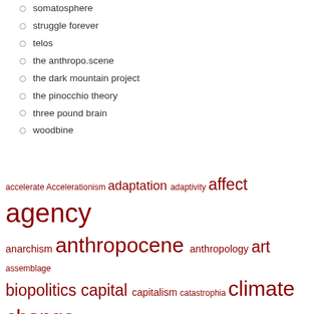somatosphere
struggle forever
telos
the anthropo.scene
the dark mountain project
the pinocchio theory
three pound brain
woodbine
[Figure (infographic): Tag/word cloud in dark red text with varying font sizes representing topics: accelerate, Accelerationism, adaptation, adaptivity, affect, agency, anarchism, anthropocene, anthropology, art, assemblage, biopolitics, capital, capitalism, catastrophia, climate change, cognition, collapse, communalism, communism, corporeality, cosmopolitics, critique, design, desire, ecognosis, ecologistics, ecology, economics, emergence, episteme, ethics, existence, existenz, extinction, governance, infrastructure, machinics, materialism, media, methods, nihilism, ontography]